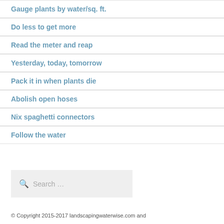Gauge plants by water/sq. ft.
Do less to get more
Read the meter and reap
Yesterday, today, tomorrow
Pack it in when plants die
Abolish open hoses
Nix spaghetti connectors
Follow the water
Search …
© Copyright 2015-2017 landscapingwaterwise.com and